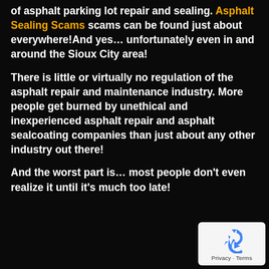of asphalt parking lot repair and sealing. Asphalt Sealing Scams scams can be found just about everywhere!And yes… unfortunately even in and around the Sioux City area!
There is little or virtually no regulation of the asphalt repair and maintenance industry. More people get burned by unethical and inexperienced asphalt repair and asphalt sealcoating companies than just about any other industry out there!
And the worst part is… most people don't even realize it until it's much too late!
[Figure (logo): reCAPTCHA privacy badge with recycling-style arrow icon and 'Privacy - Terms' text]